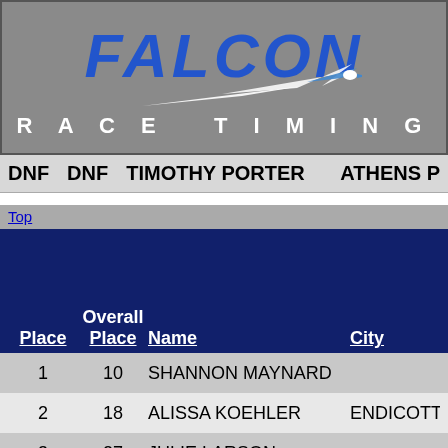[Figure (logo): Falcon Race Timing logo — grey banner with blue italic FALCON text, white bird/swoosh graphic, and RACE TIMING text below]
DNF  DNF  TIMOTHY PORTER  ATHENS P
Top
| Place | Overall Place | Name | City |
| --- | --- | --- | --- |
| 1 | 10 | SHANNON MAYNARD |  |
| 2 | 18 | ALISSA KOEHLER | ENDICOTT |
| 3 | 27 | JULIE LARSON |  |
| 4 | 34 | KERRI STRAUSS |  |
| 5 | 36 | KIM BLOW | SAYRE |